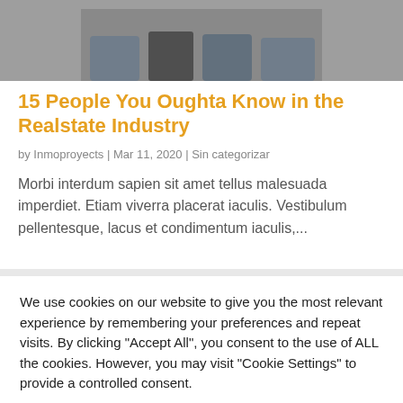[Figure (photo): Photo of several people sitting, lower body visible, wearing jeans and casual clothes]
15 People You Oughta Know in the Realstate Industry
by Inmoproyects | Mar 11, 2020 | Sin categorizar
Morbi interdum sapien sit amet tellus malesuada imperdiet. Etiam viverra placerat iaculis. Vestibulum pellentesque, lacus et condimentum iaculis,...
We use cookies on our website to give you the most relevant experience by remembering your preferences and repeat visits. By clicking "Accept All", you consent to the use of ALL the cookies. However, you may visit "Cookie Settings" to provide a controlled consent.